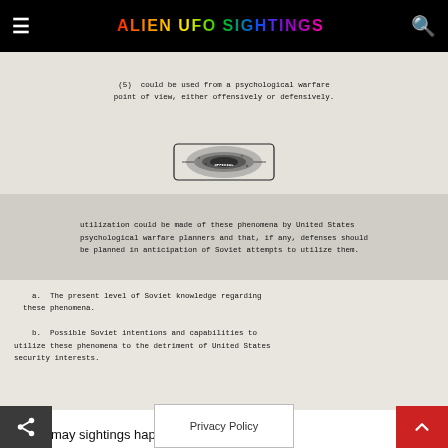ALIEN UFO SIGHTINGS
(5) could be used from a psychological warfare point of view, either offensively or defensively.
[Figure (illustration): Stamp or seal emblem, appears to be an official government/military insignia or embossed stamp]
utilization could be made of these phenomena by United States psychological warfare planners and that, if any, defenses should be planned in anticipation of Soviet attempts to utilize them.
a. The present level of Soviet knowledge regarding these phenomena.
b. Possible Soviet intentions and capabilities to utilize these phenomena to the detriment of United States security interests.
With so may sightings happenin
Privacy Policy